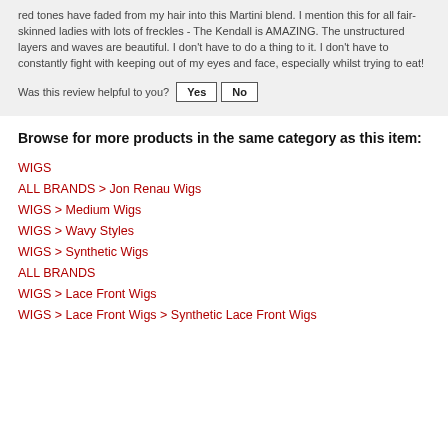red tones have faded from my hair into this Martini blend. I mention this for all fair-skinned ladies with lots of freckles - The Kendall is AMAZING. The unstructured layers and waves are beautiful. I don't have to do a thing to it. I don't have to constantly fight with keeping out of my eyes and face, especially whilst trying to eat!
Was this review helpful to you? Yes No
Browse for more products in the same category as this item:
WIGS
ALL BRANDS > Jon Renau Wigs
WIGS > Medium Wigs
WIGS > Wavy Styles
WIGS > Synthetic Wigs
ALL BRANDS
WIGS > Lace Front Wigs
WIGS > Lace Front Wigs > Synthetic Lace Front Wigs